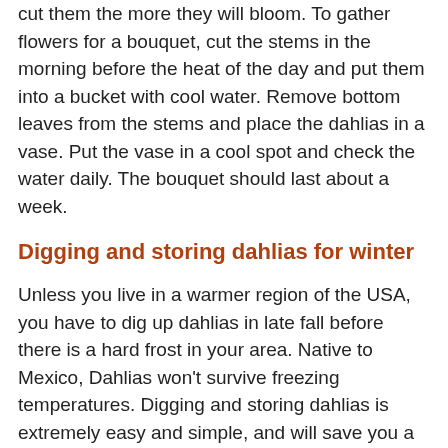cut them the more they will bloom. To gather flowers for a bouquet, cut the stems in the morning before the heat of the day and put them into a bucket with cool water. Remove bottom leaves from the stems and place the dahlias in a vase. Put the vase in a cool spot and check the water daily. The bouquet should last about a week.
Digging and storing dahlias for winter
Unless you live in a warmer region of the USA, you have to dig up dahlias in late fall before there is a hard frost in your area. Native to Mexico, Dahlias won't survive freezing temperatures. Digging and storing dahlias is extremely easy and simple, and will save you a lot of money.
If you live in an area where your ground doesn't freeze (such as California and Florida), you don't need to dig up your tubers. The general rule is: If you live in USDA Zone 8 or warmer, you can leave